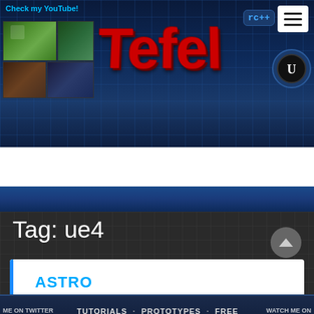Check my YouTube!
[Figure (screenshot): Tefel website header banner with red 3D logo text 'Tefel', game thumbnails on left, Unreal Engine and RC++ icons on right, hamburger menu button]
ME ON TWITTER · TUTORIALS · PROTOTYPES · FREE RESOURCES · WATCH ME ON · COM/TEFELDEV · TWITCH.TV/T
Tag: ue4
ASTRO COLONY MAP SYSTEM
POSTED ON 11 APRIL 2021 BY TEFEL
[Figure (screenshot): YouTube video thumbnail showing 'Astro Colony Map Syst...' with avatar and menu icons]